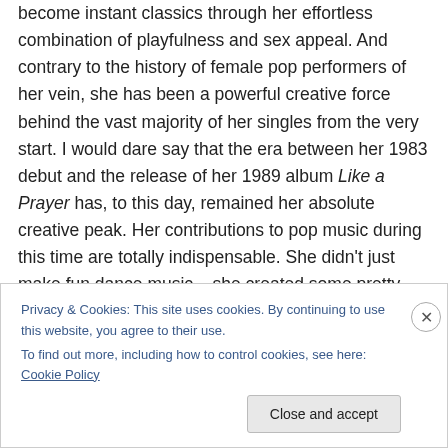become instant classics through her effortless combination of playfulness and sex appeal. And contrary to the history of female pop performers of her vein, she has been a powerful creative force behind the vast majority of her singles from the very start. I would dare say that the era between her 1983 debut and the release of her 1989 album Like a Prayer has, to this day, remained her absolute creative peak. Her contributions to pop music during this time are totally indispensable. She didn't just make fun dance music – she created some pretty impressive pieces of art that form an important fraction
Privacy & Cookies: This site uses cookies. By continuing to use this website, you agree to their use.
To find out more, including how to control cookies, see here: Cookie Policy